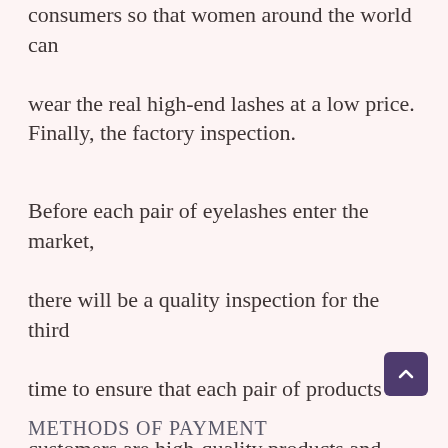consumers so that women around the world can wear the real high-end lashes at a low price.
Finally, the factory inspection.
Before each pair of eyelashes enter the market, there will be a quality inspection for the third time to ensure that each pair of products to customers are high-quality products and artworks.
METHODS OF PAYMENT